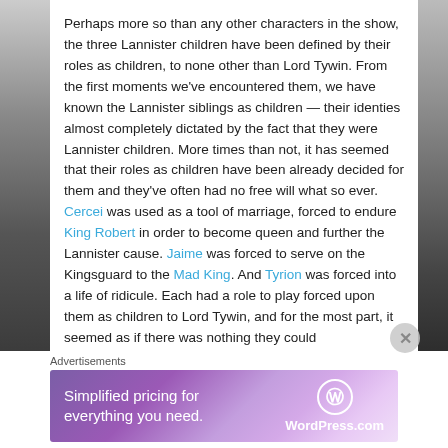Perhaps more so than any other characters in the show, the three Lannister children have been defined by their roles as children, to none other than Lord Tywin. From the first moments we've encountered them, we have known the Lannister siblings as children — their identies almost completely dictated by the fact that they were Lannister children. More times than not, it has seemed that their roles as children have been already decided for them and they've often had no free will what so ever. Cercei was used as a tool of marriage, forced to endure King Robert in order to become queen and further the Lannister cause. Jaime was forced to serve on the Kingsguard to the Mad King. And Tyrion was forced into a life of ridicule. Each had a role to play forced upon them as children to Lord Tywin, and for the most part, it seemed as if there was nothing they could do to change this.
[Figure (other): Advertisement banner: Simplified pricing for everything you need. WordPress.com]